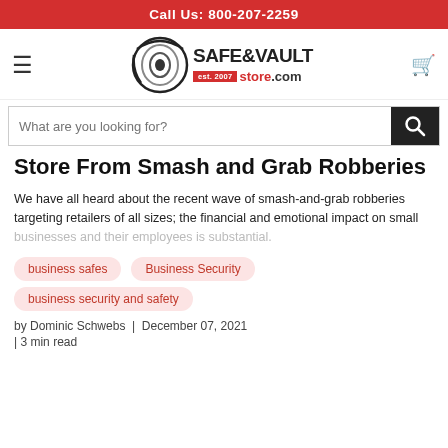Call Us: 800-207-2259
[Figure (logo): Safe & Vault Store.com logo with circular eye graphic, est. 2007]
Store From Smash and Grab Robberies
We have all heard about the recent wave of smash-and-grab robberies targeting retailers of all sizes; the financial and emotional impact on small businesses and their employees is substantial.
business safes
Business Security
business security and safety
by Dominic Schwebs  |  December 07, 2021
| 3 min read